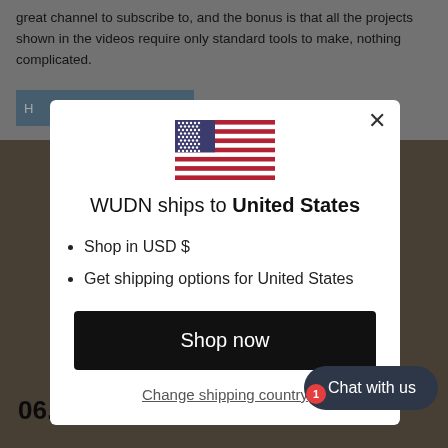great channel to subscribe to, and the bonus is that all the projects shown in the videos require only standard tools to make, nothing complicated.
[Figure (screenshot): A modal dialog overlaying a webpage. The modal shows a US flag, text 'WUDN ships to United States', bullet points for USD and shipping, a 'Shop now' button, and a 'Change shipping country' link. A chat widget appears in the bottom right with a red badge showing '1'.]
WUDN ships to United States
Shop in USD $
Get shipping options for United States
Shop now
Change shipping country
Chat with us
06. Jimmy Diresta